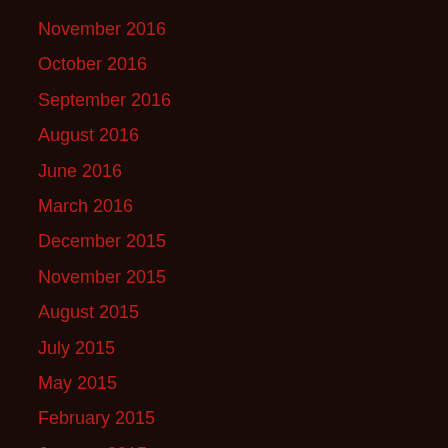November 2016
October 2016
September 2016
August 2016
June 2016
March 2016
December 2015
November 2015
August 2015
July 2015
May 2015
February 2015
January 2015
November 2014